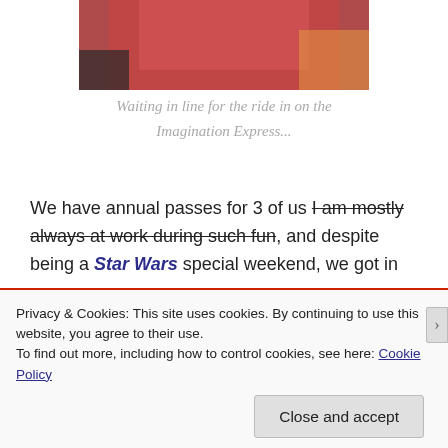[Figure (photo): Person wearing a pink/red knit sweater waiting in line, cropped at torso/shoulders level, appears to be indoors]
Waiting in line for the ride in on the Imagination Express...
We have annual passes for 3 of us [strikethrough: I am mostly always at work during such fun], and despite being a Star Wars special weekend, we got in
Privacy & Cookies: This site uses cookies. By continuing to use this website, you agree to their use.
To find out more, including how to control cookies, see here: Cookie Policy
Close and accept